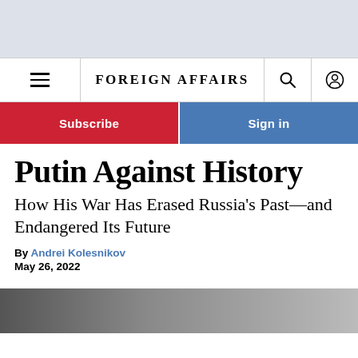[Figure (screenshot): Light blue-gray top banner area of website]
FOREIGN AFFAIRS
Subscribe | Sign in
Putin Against History
How His War Has Erased Russia's Past—and Endangered Its Future
By Andrei Kolesnikov
May 26, 2022
[Figure (photo): Partial photo of a person at the bottom of the page, black and white]